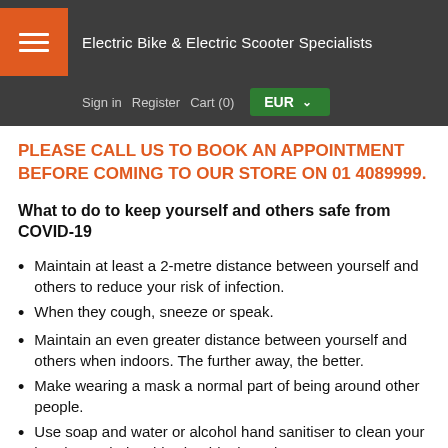Electric Bike & Electric Scooter Specialists
Sign in   Register   Cart (0)   EUR
PLEASE CALL US TO BOOK AN APPOINTMENT BEFORE COMING TO OUR STORE ON 01 4089999.
What to do to keep yourself and others safe from COVID-19
Maintain at least a 2-metre distance between yourself and others to reduce your risk of infection.
When they cough, sneeze or speak.
Maintain an even greater distance between yourself and others when indoors. The further away, the better.
Make wearing a mask a normal part of being around other people.
Use soap and water or alcohol hand sanitiser to clean your hands regularly. This should take at least 20